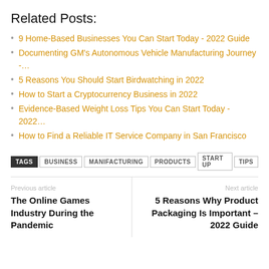Related Posts:
9 Home-Based Businesses You Can Start Today - 2022 Guide
Documenting GM's Autonomous Vehicle Manufacturing Journey -…
5 Reasons You Should Start Birdwatching in 2022
How to Start a Cryptocurrency Business in 2022
Evidence-Based Weight Loss Tips You Can Start Today - 2022…
How to Find a Reliable IT Service Company in San Francisco
TAGS  BUSINESS  MANIFACTURING  PRODUCTS  START UP  TIPS
Previous article
The Online Games Industry During the Pandemic
Next article
5 Reasons Why Product Packaging Is Important – 2022 Guide